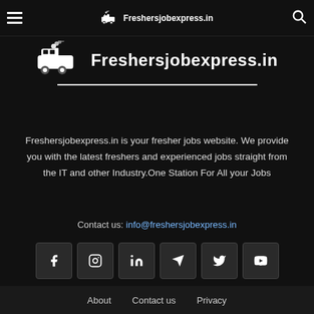Freshersjobexpress.in
[Figure (logo): Freshersjobexpress.in logo with train icon and site name, large centered version]
Freshersjobexpress.in is your fresher jobs website. We provide you with the latest freshers and experienced jobs straight from the IT and other Industry.One Station For All your Jobs
Contact us: info@freshersjobexpress.in
[Figure (infographic): Six social media icon buttons: Facebook, Instagram, LinkedIn, Telegram, Twitter, YouTube]
About   Contact us   Privacy